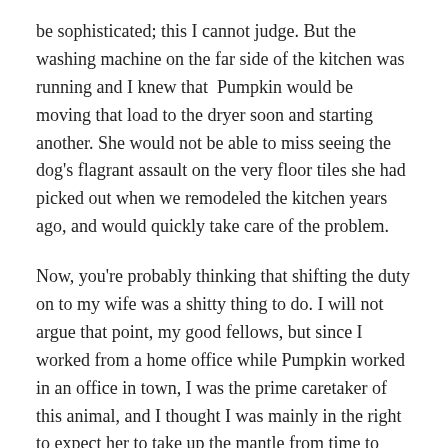be sophisticated; this I cannot judge. But the washing machine on the far side of the kitchen was running and I knew that Pumpkin would be moving that load to the dryer soon and starting another. She would not be able to miss seeing the dog's flagrant assault on the very floor tiles she had picked out when we remodeled the kitchen years ago, and would quickly take care of the problem.
Now, you're probably thinking that shifting the duty on to my wife was a shitty thing to do. I will not argue that point, my good fellows, but since I worked from a home office while Pumpkin worked in an office in town, I was the prime caretaker of this animal, and I thought I was mainly in the right to expect her to take up the mantle from time to time.